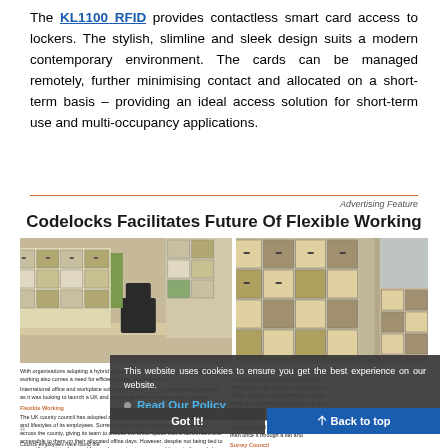The KL1100 RFID provides contactless smart card access to lockers. The stylish, slimline and sleek design suits a modern contemporary environment. The cards can be managed remotely, further minimising contact and allocated on a short-term basis – providing an ideal access solution for short-term use and multi-occupancy applications.
Advertising Feature
Codelocks Facilitates Future Of Flexible Working
[Figure (photo): Two photos of office locker installations showing modern coloured lockers in office environments]
With organisations adopting a hybrid working model to transition towards flexible working also comes a need for efficient locker management. International office and workplace solutions provider Bisley approached Codelocks as it was looking to launch a UK and to provide with an access control solution...
Flexible Working - the county council has adopted a hybrid working model to best suit the needs and lifestyles of its employees...
This website uses cookies to ensure you get the best experience on our website.
Read Our Policy
Got It!
Back to top
Council employees have found the lockers easy to operate and appreciate the fact the council